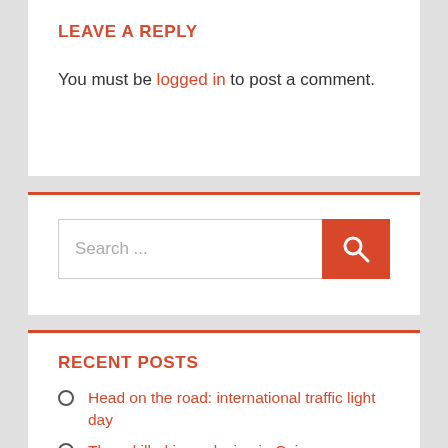LEAVE A REPLY
You must be logged in to post a comment.
[Figure (screenshot): Search bar with text placeholder 'Search ...' and an orange search button with magnifier icon]
RECENT POSTS
Head on the road: international traffic light day
Three killed in explosion in Cairo